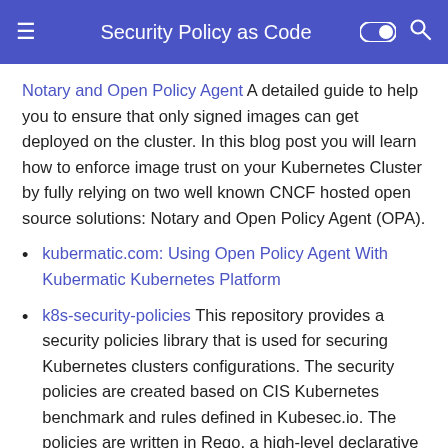Security Policy as Code
Notary and Open Policy Agent A detailed guide to help you to ensure that only signed images can get deployed on the cluster. In this blog post you will learn how to enforce image trust on your Kubernetes Cluster by fully relying on two well known CNCF hosted open source solutions: Notary and Open Policy Agent (OPA).
kubermatic.com: Using Open Policy Agent With Kubermatic Kubernetes Platform
k8s-security-policies This repository provides a security policies library that is used for securing Kubernetes clusters configurations. The security policies are created based on CIS Kubernetes benchmark and rules defined in Kubesec.io. The policies are written in Rego, a high-level declarative language, its purpose-built for expressing policies over